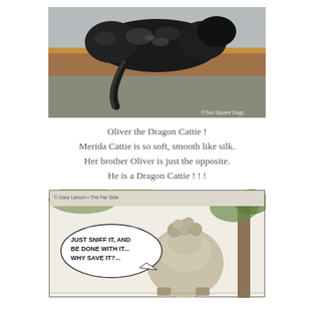[Figure (photo): A large black fluffy cat lying on a wooden ledge/shelf near a window, viewed from behind. The cat's tail hangs down. Watermark reads '©Two Square Dogs' in bottom right corner.]
Oliver the Dragon Cattie !
Merida Cattie is so soft, smooth like silk.
Her brother Oliver is just the opposite.
He is a Dragon Cattie ! ! !
[Figure (illustration): A comic strip panel showing a cartoon animal (dog or bear) from behind, with a speech bubble reading 'JUST SNIFF IT, AND BE DONE WITH IT... WHY SAVE IT?...' set against a background of trees and foliage. Black and white pen-and-ink style illustration.]